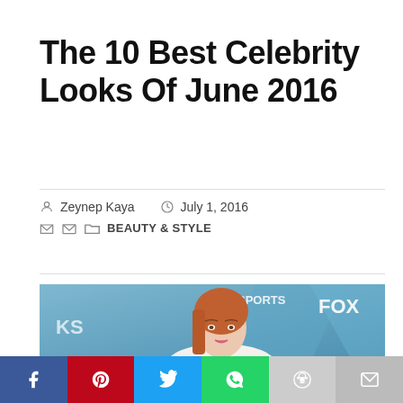The 10 Best Celebrity Looks Of June 2016
Zeynep Kaya   July 1, 2016   BEAUTY & STYLE
[Figure (photo): Red-haired woman at a Fox Sports event photo call, wearing an off-shoulder white outfit, with blue branded backdrop showing FOX and SPORTS logos.]
[Figure (infographic): Social media share bar with Facebook, Pinterest, Twitter, WhatsApp, Reddit, and Email buttons.]